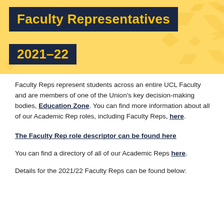[Figure (illustration): Yellow banner background with decorative geometric shapes (diamonds, arrows, chevrons) in lighter gold/yellow tones]
Faculty Representatives 2021-22
Faculty Reps represent students across an entire UCL Faculty and are members of one of the Union's key decision-making bodies, Education Zone. You can find more information about all of our Academic Rep roles, including Faculty Reps, here.
The Faculty Rep role descriptor can be found here
You can find a directory of all of our Academic Reps here.
Details for the 2021/22 Faculty Reps can be found below: